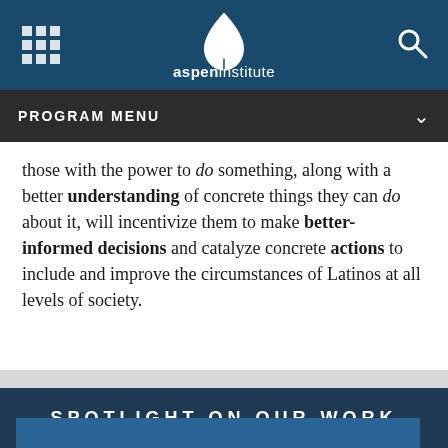[Figure (logo): Aspen Institute logo — white leaf/droplet shape with 'aspeninstitute' text, centered in dark blue navigation bar with grid icon on left and search icon on right]
PROGRAM MENU
those with the power to do something, along with a better understanding of concrete things they can do about it, will incentivize them to make better-informed decisions and catalyze concrete actions to include and improve the circumstances of Latinos at all levels of society.
SPOTLIGHT ON OUR WORK